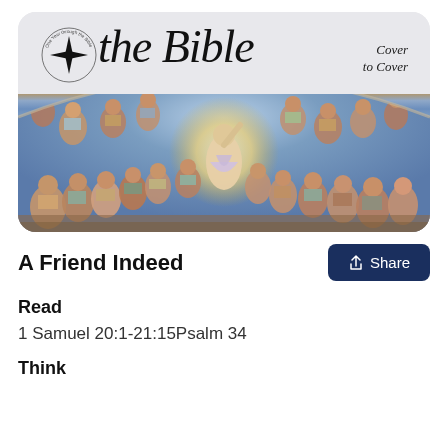[Figure (illustration): Banner image for 'the Bible Cover to Cover' podcast/devotional series. Top portion shows grey background with large italic serif text 'the Bible' and smaller text 'Cover to Cover' on the right. A circular logo with a diamond/star shape and text around the perimeter is on the left. The lower portion shows a reproduction of Michelangelo's Last Judgment fresco from the Sistine Chapel, featuring many classical figures in an arched composition with a central glowing figure.]
A Friend Indeed
Read
1 Samuel 20:1-21:15Psalm 34
Think